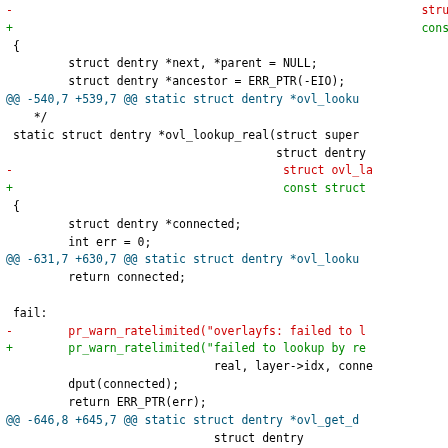Code diff showing changes to ovl_lookup_real function in overlayfs kernel code
[Figure (screenshot): Git diff output showing modifications to Linux kernel overlayfs code. Red lines (marked with -) show removed code, green lines (marked with +) show added code, blue lines show context code and diff hunk headers.]